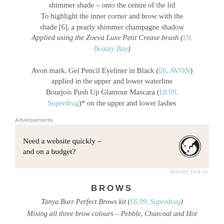With the finger, taking shade [5] – a pink metallic shimmer shade – onto the centre of the lid
To highlight the inner corner and brow with the shade [6], a pearly shimmer champagne shadow
Applied using the Zoeva Luxe Petit Crease brush (£9, Beauty Bay)
Avon mark. Gel Pencil Eyeliner in Black (£6, AVON) applied in the upper and lower waterline
Bourjois Push Up Glamour Mascara (£8.99, Superdrug)* on the upper and lower lashes
[Figure (other): WordPress advertisement banner with text 'Need a website quickly – and on a budget?' and WordPress logo on a light pink/beige background]
BROWS
Tanya Burr Perfect Brows kit (£6.99, Superdrug)
Mixing all three brow colours – Pebble, Charcoal and Hot